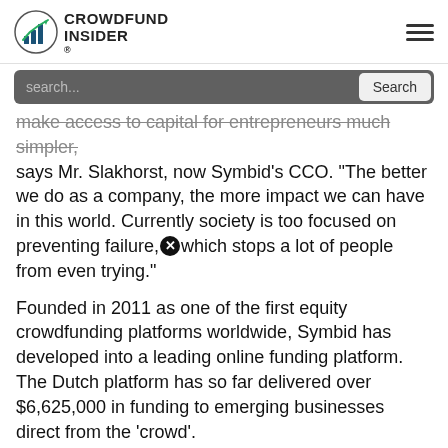CROWDFUND INSIDER
make access to capital for entrepreneurs much simpler, says Mr. Slakhorst, now Symbid's CCO. "The better we do as a company, the more impact we can have in this world. Currently society is too focused on preventing failure, which stops a lot of people from even trying."
Founded in 2011 as one of the first equity crowdfunding platforms worldwide, Symbid has developed into a leading online funding platform. The Dutch platform has so far delivered over $6,625,000 in funding to emerging businesses direct from the 'crowd'.
"But above all, daring to see this world as it could Mr. Slakhorst, it's about daring to challenge it, and then acting to change it." Both Robin and Korstiaan expect the term 'crowdfunding' to change to 'online finance' in
We use cookies to ensure that we give you the best experience on our website. If you continue to use this site we will assume that you are happy with it and agree to our terms of service.